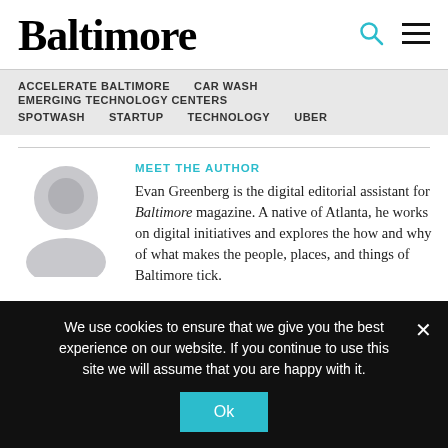Baltimore
ACCELERATE BALTIMORE
CAR WASH
EMERGING TECHNOLOGY CENTERS
SPOTWASH
STARTUP
TECHNOLOGY
UBER
MEET THE AUTHOR
[Figure (illustration): Generic gray silhouette avatar of a person (head and shoulders)]
Evan Greenberg is the digital editorial assistant for Baltimore magazine. A native of Atlanta, he works on digital initiatives and explores the how and why of what makes the people, places, and things of Baltimore tick.
We use cookies to ensure that we give you the best experience on our website. If you continue to use this site we will assume that you are happy with it.